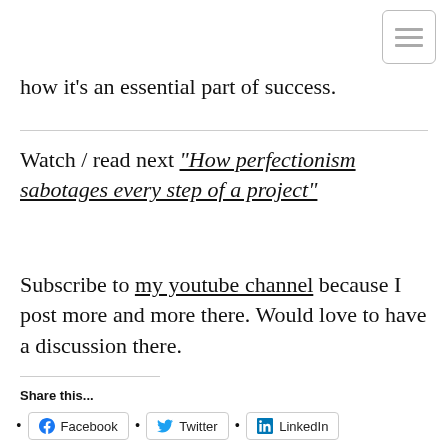[Figure (other): Hamburger menu icon button — three horizontal gray lines inside a rounded rectangle border]
how it's an essential part of success.
Watch / read next "How perfectionism sabotages every step of a project"
Subscribe to my youtube channel because I post more and more there. Would love to have a discussion there.
Share this...
• Facebook • Twitter • LinkedIn